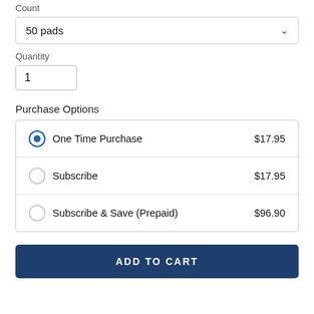Count
50 pads
Quantity
1
Purchase Options
One Time Purchase  $17.95
Subscribe  $17.95
Subscribe & Save (Prepaid)  $96.90
ADD TO CART